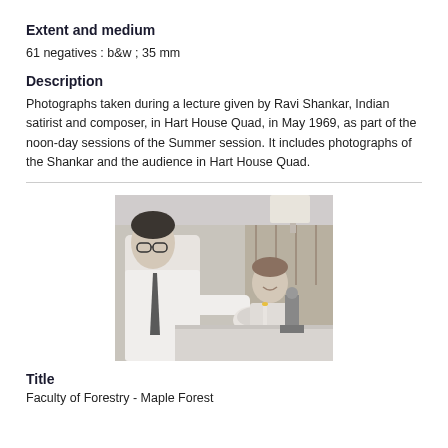Extent and medium
61 negatives : b&w ; 35 mm
Description
Photographs taken during a lecture given by Ravi Shankar, Indian satirist and composer, in Hart House Quad, in May 1969, as part of the noon-day sessions of the Summer session. It includes photographs of the Shankar and the audience in Hart House Quad.
[Figure (photo): Black and white photograph of two people, one leaning over looking at something on a surface, the other smiling in the background, in what appears to be an indoor setting.]
Title
Faculty of Forestry - Maple Forest